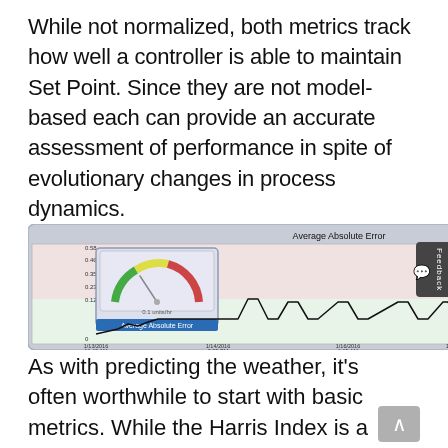While not normalized, both metrics track how well a controller is able to maintain Set Point. Since they are not model-based each can provide an accurate assessment of performance in spite of evolutionary changes in process dynamics.
[Figure (continuous-plot): A time-series line chart showing Average Absolute Error over time from 1/13/2016 to 1/20/2016, with a gauge overlay on the left showing 0.1 units/hr, and labeled 'Average Absolute Error'. The chart background has shaded green and pink regions indicating performance zones.]
As with predicting the weather, it's often worthwhile to start with basic metrics. While the Harris Index is a proven descriptive statistic and offers unique insight into